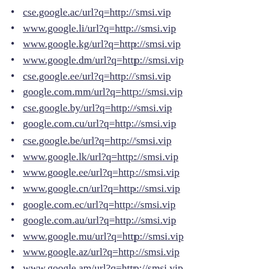cse.google.ac/url?q=http://smsi.vip
www.google.li/url?q=http://smsi.vip
www.google.kg/url?q=http://smsi.vip
www.google.dm/url?q=http://smsi.vip
cse.google.ee/url?q=http://smsi.vip
google.com.mm/url?q=http://smsi.vip
cse.google.by/url?q=http://smsi.vip
google.com.cu/url?q=http://smsi.vip
cse.google.be/url?q=http://smsi.vip
www.google.lk/url?q=http://smsi.vip
www.google.ee/url?q=http://smsi.vip
www.google.cn/url?q=http://smsi.vip
google.com.ec/url?q=http://smsi.vip
google.com.au/url?q=http://smsi.vip
www.google.mu/url?q=http://smsi.vip
www.google.az/url?q=http://smsi.vip
www.google.am/url?q=http://smsi.vip
cse.google.cg/url?q=http://smsi.vip
google.com.af/url?q=http://smsi.vip